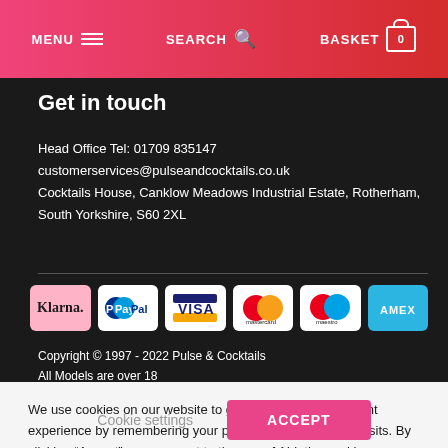MENU  SEARCH  BASKET 0
Get in touch
Head Office Tel: 01709 835147
customerservices@pulseandcocktails.co.uk
Cocktails House, Canklow Meadows Industrial Estate, Rotherham, South Yorkshire, S60 2XL
[Figure (logo): Payment method logos: Klarna, PayPal, Visa, Mastercard, Maestro, Amex]
Copyright © 1997 - 2022 Pulse & Cocktails
All Models are over 18
We use cookies on our website to give you the most relevant experience by remembering your preferences and repeat visits. By clicking "Accept", you consent to the use of ALL the cookies. However you may visit Cookie Settings to provide a controlled consent.